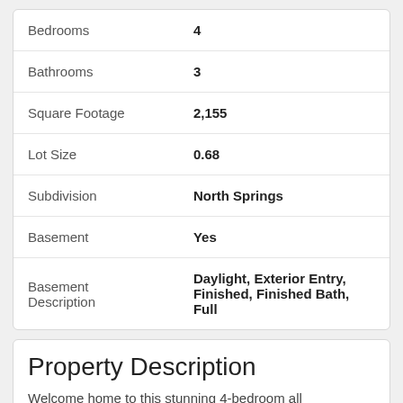| Label | Value |
| --- | --- |
| Bedrooms | 4 |
| Bathrooms | 3 |
| Square Footage | 2,155 |
| Lot Size | 0.68 |
| Subdivision | North Springs |
| Basement | Yes |
| Basement Description | Daylight, Exterior Entry, Finished, Finished Bath, Full |
Property Description
Welcome home to this stunning 4-bedroom all